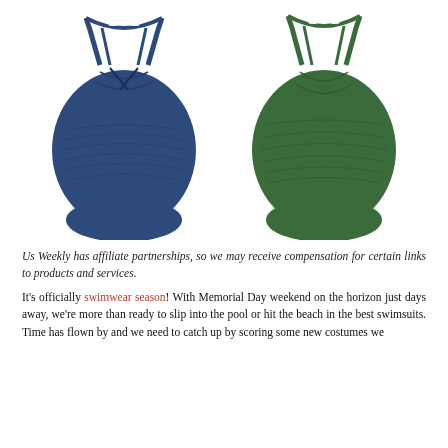[Figure (photo): Two one-piece swimsuits shown side by side: a navy blue halter-neck ruched one-piece on the left, and a forest green halter-neck ruched one-piece on the right. Both feature keyhole/cut-out necklines with double straps.]
Us Weekly has affiliate partnerships, so we may receive compensation for certain links to products and services.
It's officially swimwear season! With Memorial Day weekend on the horizon just days away, we're more than ready to slip into the pool or hit the beach in the best swimsuits. Time has flown by and we need to catch up by scoring some new costumes we